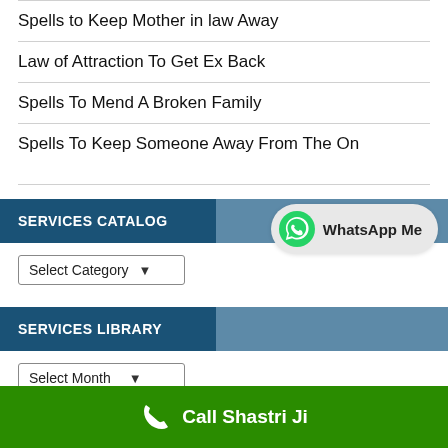Spells to Keep Mother in law Away
Law of Attraction To Get Ex Back
Spells To Mend A Broken Family
Spells To Keep Someone Away From The One You Love
[Figure (other): WhatsApp Me button with green WhatsApp logo icon]
SERVICES CATALOG
Select Category
SERVICES LIBRARY
Select Month
SEE ALSO
Call Shastri Ji